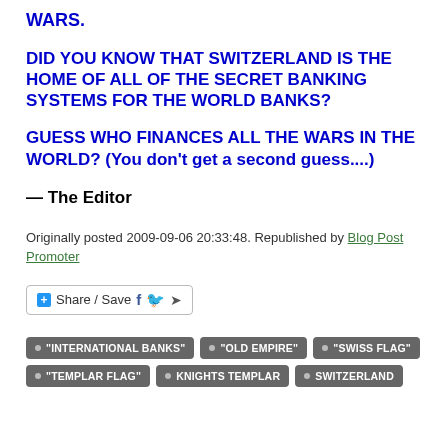WARS.
DID YOU KNOW THAT SWITZERLAND IS THE HOME OF ALL OF THE SECRET BANKING SYSTEMS FOR THE WORLD BANKS?
GUESS WHO FINANCES ALL THE WARS IN THE WORLD?  (You don't get a second guess....)
— The Editor
Originally posted 2009-09-06 20:33:48. Republished by Blog Post Promoter
[Figure (other): Share / Save social sharing button with Facebook, Twitter and more icons]
• "INTERNATIONAL BANKS"
• "OLD EMPIRE"
• "SWISS FLAG"
• "TEMPLAR FLAG"
• KNIGHTS TEMPLAR
• SWITZERLAND